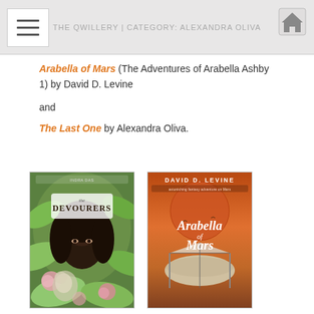THE QWILLERY | CATEGORY: ALEXANDRA OLIVA
Arabella of Mars (The Adventures of Arabella Ashby 1) by David D. Levine
and
The Last One by Alexandra Oliva.
[Figure (photo): Book cover of 'The Devourers' by Indra Das showing a woman with dark hair surrounded by flowers and foliage]
[Figure (photo): Book cover of 'Arabella of Mars' by David D. Levine showing an airship in front of a large red planet]